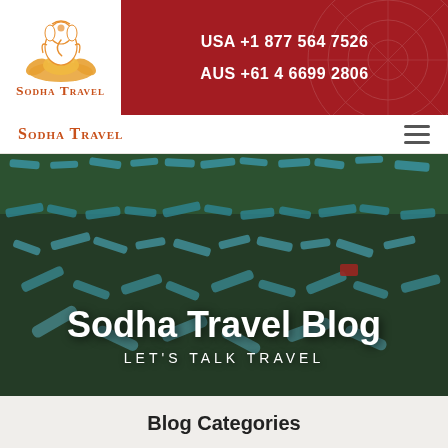[Figure (logo): Sodha Travel logo: orange Ganesha figure seated on lotus flower above orange lotus petals, with brand name 'Sodha Travel' in orange serif small-caps below]
USA +1 877 564 7526
AUS +61 4 6699 2806
Sodha Travel
[Figure (photo): Aerial overhead view of colorful turquoise and blue boats densely packed along a river bank with green water, boats moored at a dock area]
Sodha Travel Blog
LET'S TALK TRAVEL
Blog Categories